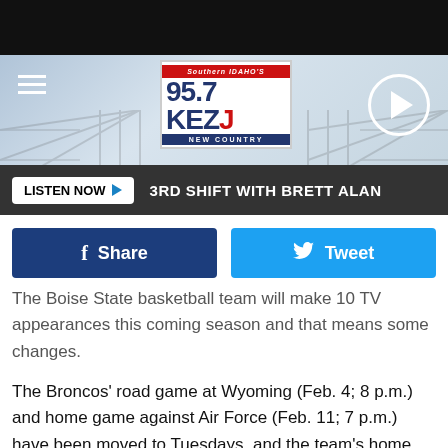[Figure (screenshot): 95.7 KEZJ Southern Idaho's New Country radio station logo]
LISTEN NOW ▶  3RD SHIFT WITH BRETT ALAN
[Figure (other): Facebook Share button and Twitter Tweet button row]
The Boise State basketball team will make 10 TV appearances this coming season and that means some changes.
The Broncos' road game at Wyoming (Feb. 4; 8 p.m.) and home game against Air Force (Feb. 11; 7 p.m.) have been moved to Tuesdays, and the team's home games against San Diego State (Feb. 16) and New Mexico (Feb. 23) have shifted to Sundays.